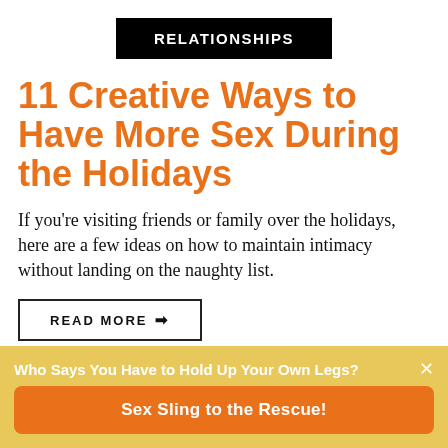RELATIONSHIPS
11 Creative Ways to Have More Sex During the Holidays
If you’re visiting friends or family over the holidays, here are a few ideas on how to maintain intimacy without landing on the naughty list.
READ MORE →
Who Says You Have to Hold Up Your Own Legs?
Sex Sling to the Rescue!